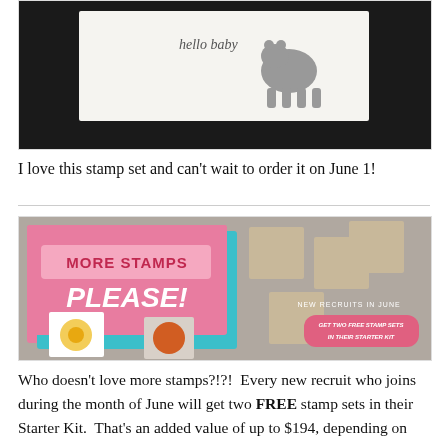[Figure (photo): Photo of a greeting card with 'hello baby' text and a bear silhouette, displayed on a dark table surface]
I love this stamp set and can't wait to order it on June 1!
[Figure (photo): Promotional banner image with pink background reading 'MORE STAMPS PLEASE!' showing rubber stamp sets with flower designs, and text 'NEW RECRUITS IN JUNE get two FREE stamp sets in their Starter Kit']
Who doesn't love more stamps?!?!  Every new recruit who joins during the month of June will get two FREE stamp sets in their Starter Kit.  That's an added value of up to $194, depending on